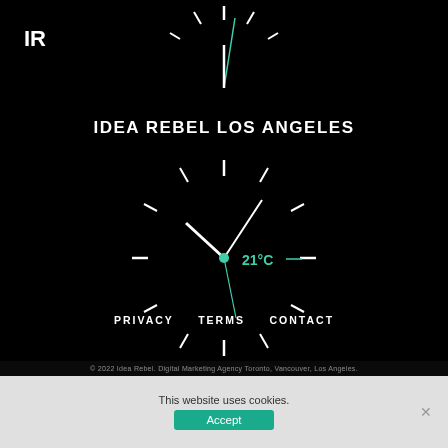[Figure (illustration): Partial analog clock face at top of page, black background, white tick marks and minute/hour hands visible]
[Figure (logo): IR logo mark in white top-left corner]
IDEA REBEL LOS ANGELES
[Figure (illustration): Analog clock face, black background, white tick marks, white clock hands, green center dot, teal '21°C' temperature label and dash to the right]
PRIVACY   TERMS   CONTACT
© 2022 Idea Rebel. Digital Marketing Agency Toronto, Vancouver, Los Angeles.
This website uses cookies.
Accept